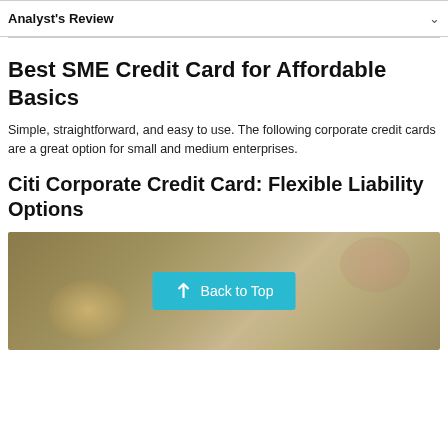Analyst's Review
Best SME Credit Card for Affordable Basics
Simple, straightforward, and easy to use. The following corporate credit cards are a great option for small and medium enterprises.
Citi Corporate Credit Card: Flexible Liability Options
[Figure (photo): Blurred photo of a gold/brown credit card with a teal 'Back to Top' button overlay in the center]